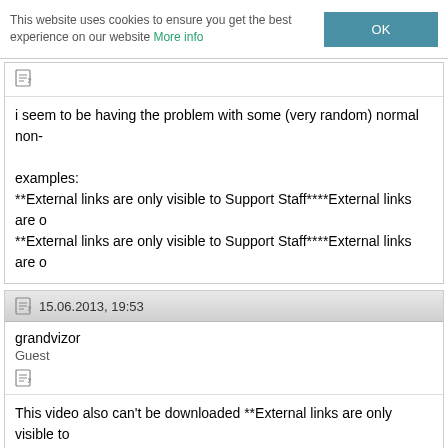This website uses cookies to ensure you get the best experience on our website More info OK
i seem to be having the problem with some (very random) normal non-
examples:
**External links are only visible to Support Staff****External links are o
**External links are only visible to Support Staff****External links are o
15.06.2013, 19:53
grandvizor
Guest
This video also can't be downloaded **External links are only visible to
Thx...
15.06.2013, 20:34
grandvizor
Guest